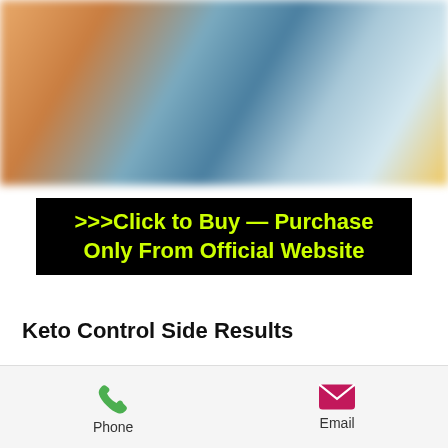[Figure (photo): Blurred product image with warm orange, blue, and yellow tones]
>>>Click to Buy — Purchase Only From Official Website
Keto Control Side Results
You should comprehend that all upgrades have a likelihood of being replied. In light of that, we have this region for Keto Control Side Consequences just to ensure you perceive what you may be engaged with. So here's a little recap that you want to remember: Sagging digestive organs A debilitated stomach Deceit Famine rest Dry mouth Exhaustion Obstruction We can't say
Phone   Email